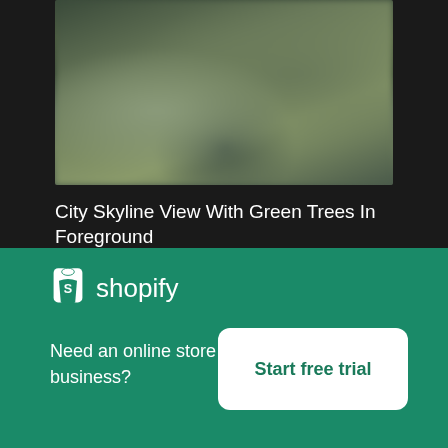[Figure (photo): Blurred city skyline view with green trees in foreground]
City Skyline View With Green Trees In Foreground
High resolution download ↓
[Figure (photo): Close-up of mossy tree branches]
[Figure (logo): Shopify logo with shopping bag icon]
Need an online store for your business?
Start free trial